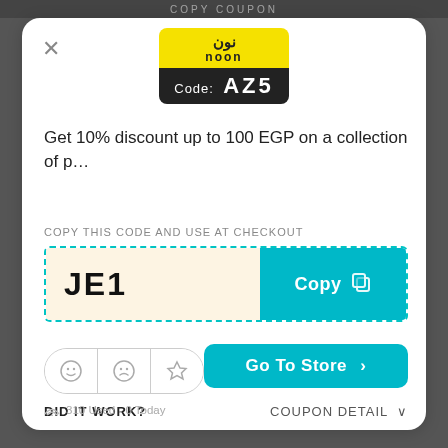[Figure (logo): noon logo with yellow background and black code strip showing Code: AZ5]
Get 10% discount up to 100 EGP on a collection of p…
COPY THIS CODE AND USE AT CHECKOUT
JE1
Copy
Go To Store >
DID IT WORK?
COUPON DETAIL ∨
310 Used - 0 Today